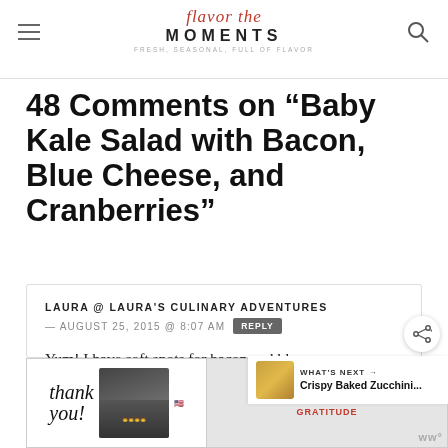flavor the MOMENTS — FRESH, SEASONAL, FULL OF FLAVOR
48 Comments on “Baby Kale Salad with Bacon, Blue Cheese, and Cranberries”
LAURA @ LAURA'S CULINARY ADVENTURES — AUGUST 25, 2015 @ 8:07 AM REPLY
Yum! I have soft spots for bacon and blue cheese 🙂
[Figure (screenshot): Advertisement banner: 'thank you!' with Operation Gratitude branding and firefighters photo]
[Figure (other): What's Next callout: Crispy Baked Zucchini...]